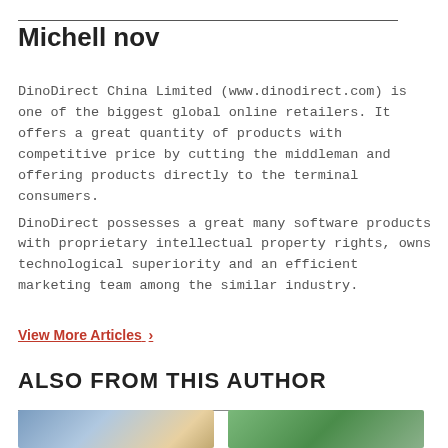Michell nov
DinoDirect China Limited (www.dinodirect.com) is one of the biggest global online retailers. It offers a great quantity of products with competitive price by cutting the middleman and offering products directly to the terminal consumers.
DinoDirect possesses a great many software products with proprietary intellectual property rights, owns technological superiority and an efficient marketing team among the similar industry.
View More Articles >
ALSO FROM THIS AUTHOR
[Figure (photo): Two photos side by side: left shows a person writing at a desk, right shows a person hiking in mountains]